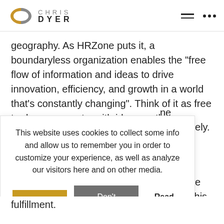[Figure (logo): Chris Dyer logo with stylized CD monogram in gold/grey and text CHRIS DYER]
geography. As HRZone puts it, a boundaryless organization enables the “free flow of information and ideas to drive innovation, efficiency, and growth in a world that’s constantly changing”. Think of it as free trade agreements, with ideas as the commodity being traded freely across [partially obscured] ne completely.
This website uses cookies to collect some info and allow us to remember you in order to customize your experience, as well as analyze our visitors here and on other media.
career,” coined
o the
ors advocate
taking a more
areer. This
ng companies
find career
fulfillment.